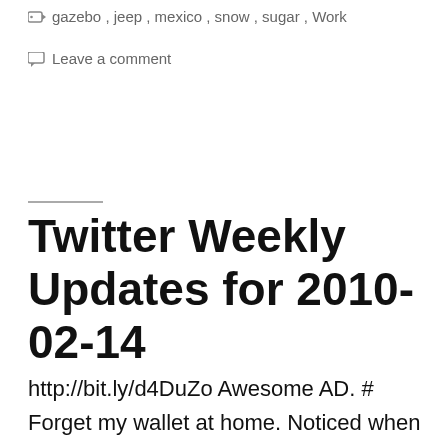gazebo, jeep, mexico, snow, sugar, Work
Leave a comment
Twitter Weekly Updates for 2010-02-14
http://bit.ly/d4DuZo Awesome AD. # Forget my wallet at home. Noticed when I was getting Starbucks. Manager bought my drink!